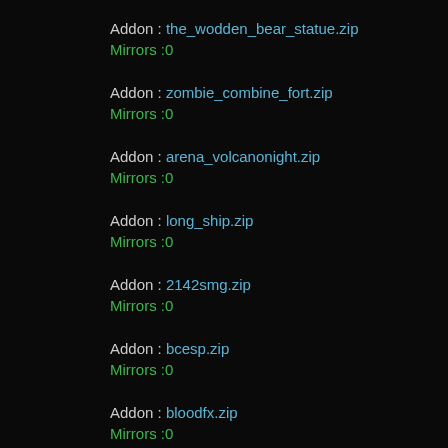Addon : the_wodden_bear_statue.zip
Mirrors :0
Addon : zombie_combine_fort.zip
Mirrors :0
Addon : arena_volcanonight.zip
Mirrors :0
Addon : long_ship.zip
Mirrors :0
Addon : 2142smg.zip
Mirrors :0
Addon : bcesp.zip
Mirrors :0
Addon : bloodfx.zip
Mirrors :0
Addon : gm_builstruct_v2.zip
Mirrors :0
Addon : warsurvival_conents.zip
Mirrors :0